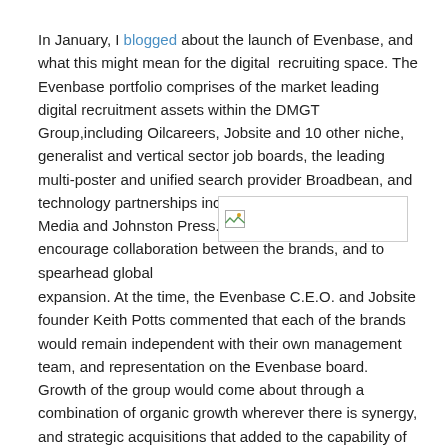In January, I blogged about the launch of Evenbase, and what this might mean for the digital recruiting space. The Evenbase portfolio comprises of the market leading digital recruitment assets within the DMGT Group,including Oilcareers, Jobsite and 10 other niche, generalist and vertical sector job boards, the leading multi-poster and unified search provider Broadbean, and technology partnerships including NHS Jobs, Northcliffe Media and Johnston Press. Evenbase was created to encourage collaboration between the brands, and to spearhead global
[Figure (other): Broken/missing image placeholder with small image icon]
expansion. At the time, the Evenbase C.E.O. and Jobsite founder Keith Potts commented that each of the brands would remain independent with their own management team, and representation on the Evenbase board. Growth of the group would come about through a combination of organic growth wherever there is synergy, and strategic acquisitions that added to the capability of the group. I got the distinct impression that it wouldn't be too long before further announcements to this effect would be forthcoming.